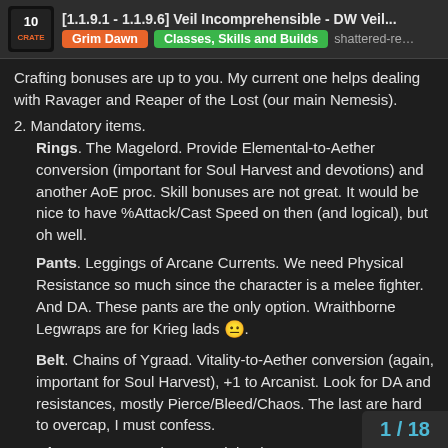[1.1.9.1 - 1.1.9.6] Veil Incomprehensible - DW Veil...
Crafting bonuses are up to you. My current one helps dealing with Ravager and Reaper of the Lost (our main Nemesis).
2. Mandatory items.
Rings. The Magelord. Provide Elemental-to-Aether conversion (important for Soul Harvest and devotions) and another AoE proc. Skill bonuses are not great. It would be nice to have %Attack/Cast Speed on then (and logical), but oh well.
Pants. Leggings of Arcane Currents. We need Physical Resistance so much since the character is a melee fighter. And DA. These pants are the only option. Wraithborne Legwraps are for Krieg lads 😐.
Belt. Chains of Ygraad. Vitality-to-Aether conversion (again, important for Soul Harvest), +1 to Arcanist. Look for DA and resistances, mostly Pierce/Bleed/Chaos. The last are hard to overcap, I must confess.
Gloves+Boots. Krieg's. A minimal c... Aether builds. Big %Aether Damage
1 / 18